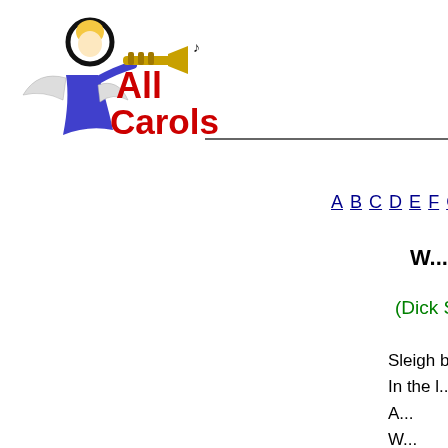[Figure (logo): Angel blowing trumpet logo for All Carols website]
All Carols
A B C D E F G H I J ...
W...
(Dick Sm...
Sleigh be...
In the l...
A...
W...
Walking...
Gone...
Here...
He...